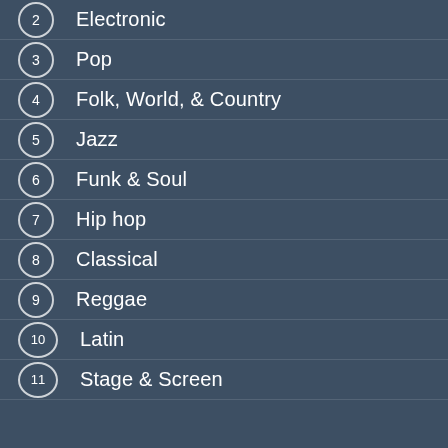2 Electronic
3 Pop
4 Folk, World, & Country
5 Jazz
6 Funk & Soul
7 Hip hop
8 Classical
9 Reggae
10 Latin
11 Stage & Screen